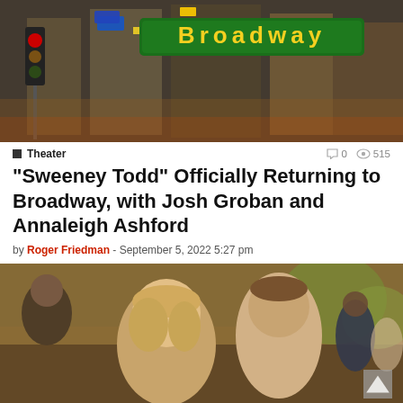[Figure (photo): Broadway street sign with neon lights and a red traffic light in Times Square]
Theater   0   515
“Sweeney Todd” Officially Returning to Broadway, with Josh Groban and Annaleigh Ashford
by Roger Friedman - September 5, 2022 5:27 pm
[Figure (photo): Movie still showing a blonde woman and a young man in a sunny outdoor setting with other people in the background]
Movies   0   648